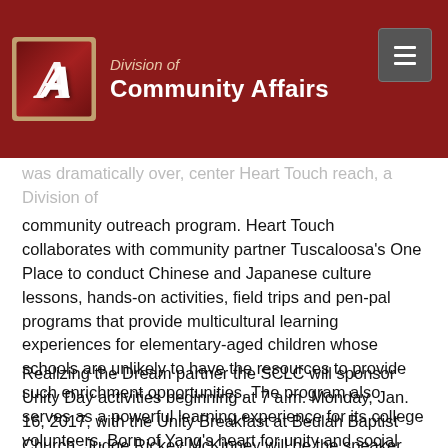Division of Community Affairs
…has dramatically over, center Heart Touch reach, a Division of community outreach program. Heart Touch collaborates with community partner Tuscaloosa's One Place to conduct Chinese and Japanese culture lessons, hands-on activities, field trips and pen-pal programs that provide multicultural learning experiences for elementary-aged children whose schools are unlikely to have the resources to provide such enrichment opportunities. The program also serves as a powerful learning experience for its college volunteers. Born of Yang's heart for unity and social justice, this program is realizing the dream beyond traditional borders to bridge international cultural gaps that are at the root of global conflicts.
Realizing the Dream partner the SCLC will sponsor Unity Day activities beginning at 7 a.m. Monday, Jan. 16, 2017, with the Unity Breakfast at Beulah Baptist Church. Judge Rickey McKinney will be the speaker. The Unity Day march will begin…